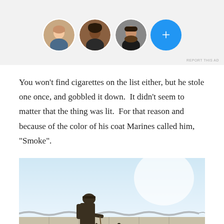[Figure (other): Ad banner with three circular profile photos of people and a blue plus button circle on a light gray background]
You won't find cigarettes on the list either, but he stole one once, and gobbled it down.  It didn't seem to matter that the thing was lit.  For that reason and because of the color of his coat Marines called him, “Smoke”.
[Figure (photo): A soldier in camouflage uniform walking a military dog on a leash along a road, with razor wire and concrete barriers in the background under a bright sky.]